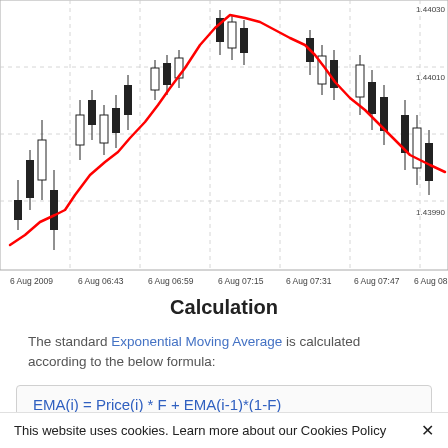[Figure (continuous-plot): Candlestick chart with a red EMA line overlay. X-axis shows times from 6 Aug 2009 through 6 Aug 08:03. Y-axis shows price levels around 1.43990 to 1.44030. The red line trends upward from lower-left to upper area then levels off.]
Calculation
The standard Exponential Moving Average is calculated according to the below formula:
Where:
This website uses cookies. Learn more about our Cookies Policy ✕